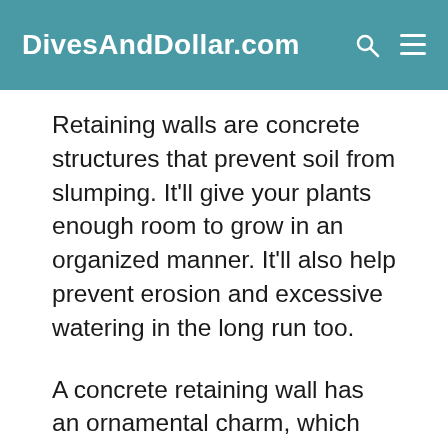DivesAndDollar.com
Retaining walls are concrete structures that prevent soil from slumping. It'll give your plants enough room to grow in an organized manner. It'll also help prevent erosion and excessive watering in the long run too.
A concrete retaining wall has an ornamental charm, which makes it interesting to view. Most buyers will appreciate the elegance of this solid